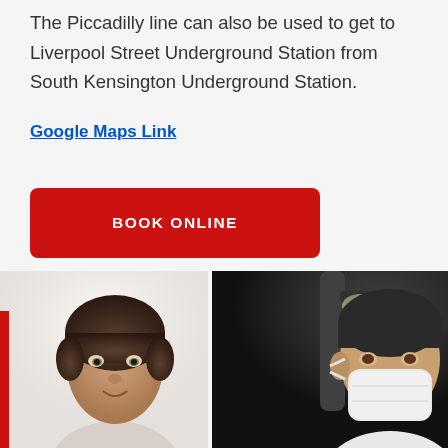The Piccadilly line can also be used to get to Liverpool Street Underground Station from South Kensington Underground Station.
Google Maps Link
BOOK ONLINE
[Figure (photo): A young man in a dental clinic setting on the left; a dental professional wearing a face mask on the right with dental equipment visible in the background.]